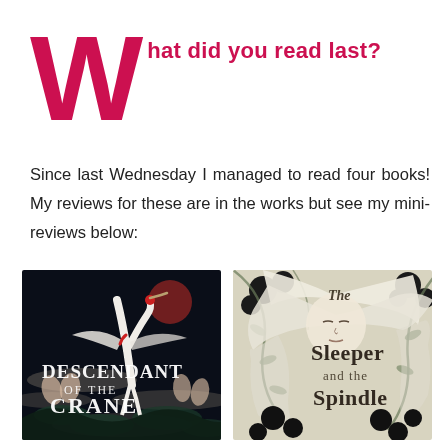What did you read last?
Since last Wednesday I managed to read four books! My reviews for these are in the works but see my mini-reviews below:
[Figure (photo): Book cover of 'Descendant of the Crane' — dark background with crane bird, lotus flowers, and blood moon]
[Figure (photo): Book cover of 'The Sleeper and the Spindle' — monochrome illustration of sleeping woman with flowing hair surrounded by black flowers and vines]